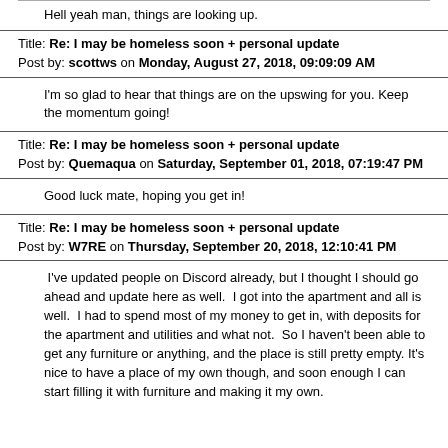Hell yeah man, things are looking up.
Title: Re: I may be homeless soon + personal update
Post by: scottws on Monday, August 27, 2018, 09:09:09 AM
I'm so glad to hear that things are on the upswing for you. Keep the momentum going!
Title: Re: I may be homeless soon + personal update
Post by: Quemaqua on Saturday, September 01, 2018, 07:19:47 PM
Good luck mate, hoping you get in!
Title: Re: I may be homeless soon + personal update
Post by: W7RE on Thursday, September 20, 2018, 12:10:41 PM
I've updated people on Discord already, but I thought I should go ahead and update here as well. I got into the apartment and all is well. I had to spend most of my money to get in, with deposits for the apartment and utilities and what not. So I haven't been able to get any furniture or anything, and the place is still pretty empty. It's nice to have a place of my own though, and soon enough I can start filling it with furniture and making it my own.